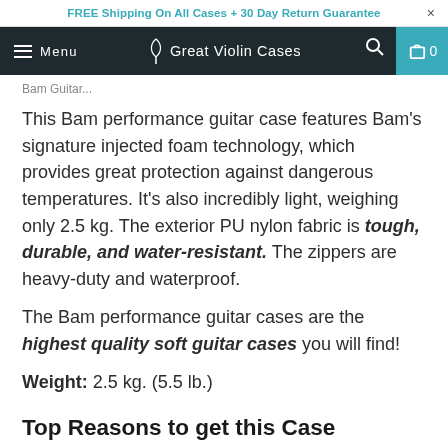FREE Shipping On All Cases + 30 Day Return Guarantee
Menu | Great Violin Cases | 0
Bam Guitar...
This Bam performance guitar case features Bam's signature injected foam technology, which provides great protection against dangerous temperatures. It's also incredibly light, weighing only 2.5 kg. The exterior PU nylon fabric is tough, durable, and water-resistant. The zippers are heavy-duty and waterproof.
The Bam performance guitar cases are the highest quality soft guitar cases you will find!
Weight: 2.5 kg. (5.5 lb.)
Top Reasons to get this Case